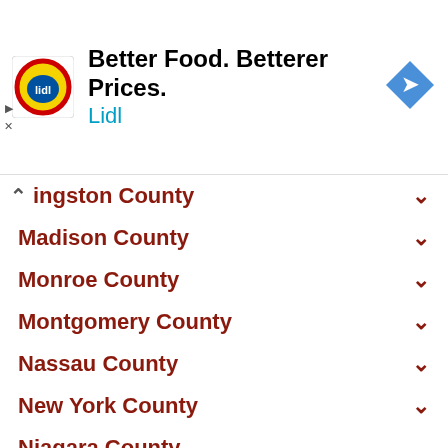[Figure (logo): Lidl advertisement banner with Lidl logo, text 'Better Food. Betterer Prices. Lidl', and a navigation arrow icon]
ingston County
Madison County
Monroe County
Montgomery County
Nassau County
New York County
Niagara County
Oneida County
Onondaga County
Ontario County